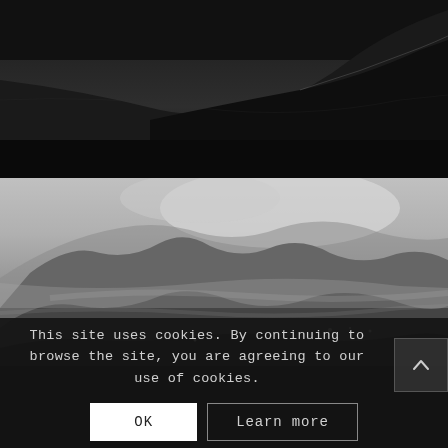[Figure (photo): Dark moody black and white landscape photo showing barren rolling hills or moorland from above, with dark shadows and dramatic lighting.]
[Figure (photo): Black and white landscape photo of misty mountains with low clouds, rugged peaks visible through fog, scattered small lights in the valley below.]
This site uses cookies. By continuing to browse the site, you are agreeing to our use of cookies.
OK
Learn more